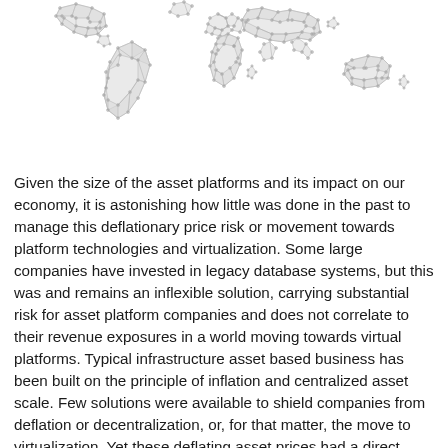[Figure (map): Geometric low-poly wireframe world map in light gray on white background, showing continents outlined with triangular mesh pattern and dot nodes]
Given the size of the asset platforms and its impact on our economy, it is astonishing how little was done in the past to manage this deflationary price risk or movement towards platform technologies and virtualization. Some large companies have invested in legacy database systems, but this was and remains an inflexible solution, carrying substantial risk for asset platform companies and does not correlate to their revenue exposures in a world moving towards virtual platforms. Typical infrastructure asset based business has been built on the principle of inflation and centralized asset scale. Few solutions were available to shield companies from deflation or decentralization, or, for that matter, the move to virtualization. Yet these deflating asset prices had a direct impact on the corporate profits, both for asset buyers and sellers.